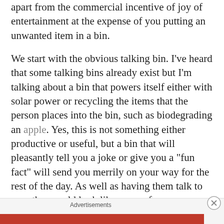apart from the commercial incentive of joy of entertainment at the expense of you putting an unwanted item in a bin.
We start with the obvious talking bin. I've heard that some talking bins already exist but I'm talking about a bin that powers itself either with solar power or recycling the items that the person places into the bin, such as biodegrading an apple. Yes, this is not something either productive or useful, but a bin that will pleasantly tell you a joke or give you a "fun fact" will send you merrily on your way for the rest of the day. As well as having them talk to you, they could look like some of your favourite cartoon characters such as SpongeBob SquarePants or your everyday talking dog.
Advertisements